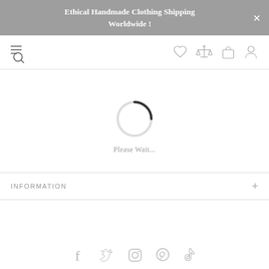Ethical Handmade Clothing Shipping Worldwide !
[Figure (screenshot): Navigation bar with hamburger/search icon on left and heart, scales, bag, person icons on right]
[Figure (other): Circular loading spinner (partially dark arc on light circle)]
Please Wait...
INFORMATION
[Figure (other): Social media icons row: Facebook, Twitter, Instagram, Pinterest, TikTok]